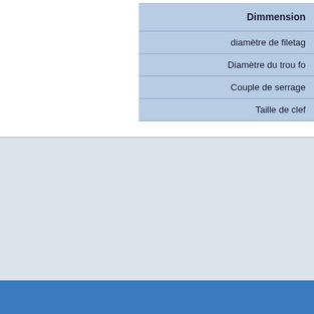| Dimmension |
| --- |
| diamètre de filetag |
| Diamètre du trou fo |
| Couple de serrage |
| Taille de clef |
Alert ! Visselect is a wholesaler for professional industry.
We can't reply to private ask and only request from companies will be taken into account.
Some information of this web site can have technical inaccuracy or typographic error.
This information delivered could be periodically modified and this modification will be incorporate